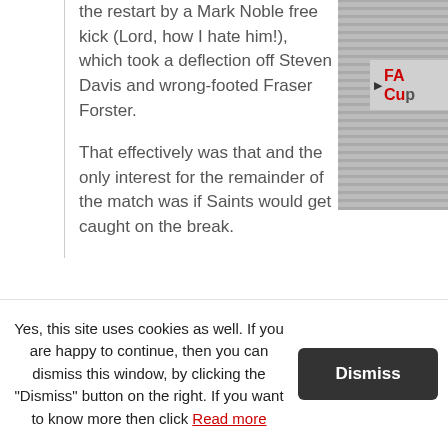the restart by a Mark Noble free kick (Lord, how I hate him!), which took a deflection off Steven Davis and wrong-footed Fraser Forster.
That effectively was that and the only interest for the remainder of the match was if Saints would get caught on the break.
[Figure (photo): Partially visible photo showing what appears to be stadium seating or blinds, with an FA Cup label overlay]
Yes, this site uses cookies as well. If you are happy to continue, then you can dismiss this window, by clicking the "Dismiss" button on the right. If you want to know more then click Read more